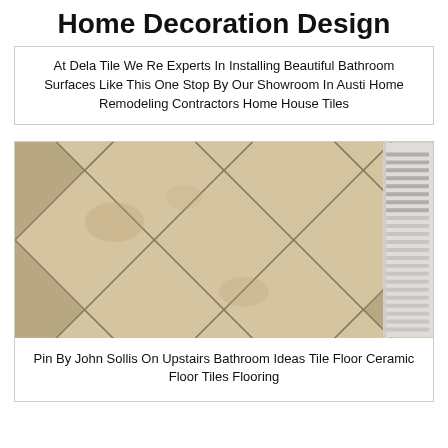Home Decoration Design
At Dela Tile We Re Experts In Installing Beautiful Bathroom Surfaces Like This One Stop By Our Showroom In Austi Home Remodeling Contractors Home House Tiles
[Figure (photo): Diagonal ceramic floor tiles in beige/tan color with gray grout lines, a white baseboard heater vent visible on the right side]
Pin By John Sollis On Upstairs Bathroom Ideas Tile Floor Ceramic Floor Tiles Flooring